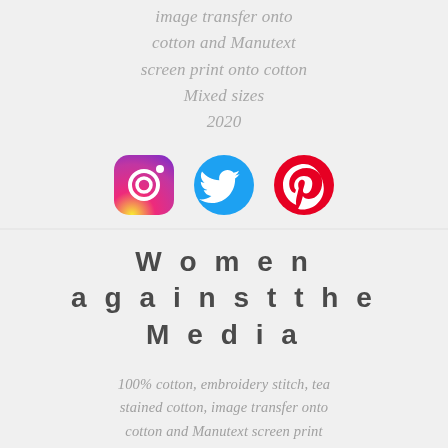image transfer onto cotton and Manutext screen print onto cotton Mixed sizes 2020
[Figure (infographic): Three social media icons: Instagram (gradient orange/purple circle with camera), Twitter (blue bird), Pinterest (red circle with P)]
Women against the Media
100% cotton, embroidery stitch, tea stained cotton, image transfer onto cotton and Manutext screen print onto cotton Mixed sizes